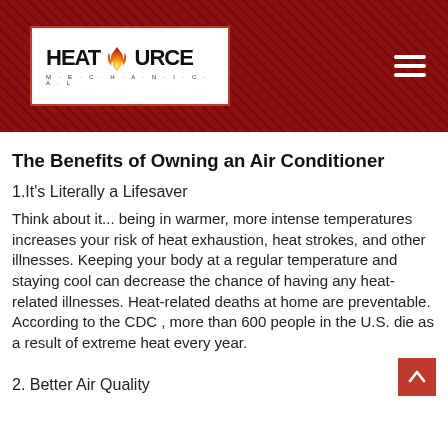[Figure (logo): HeatSource Mechanical logo with flame icon on white background, inside a red-bordered box, set against a dark red textured background with a hamburger menu icon on the right.]
The Benefits of Owning an Air Conditioner
1.It's Literally a Lifesaver
Think about it... being in warmer, more intense temperatures increases your risk of heat exhaustion, heat strokes, and other illnesses. Keeping your body at a regular temperature and staying cool can decrease the chance of having any heat-related illnesses. Heat-related deaths at home are preventable. According to the CDC , more than 600 people in the U.S. die as a result of extreme heat every year.
2. Better Air Quality